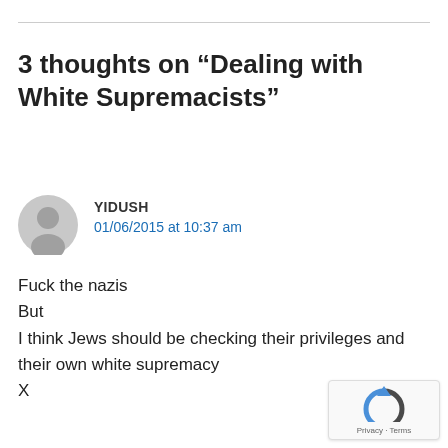3 thoughts on “Dealing with White Supremacists”
YIDUSH
01/06/2015 at 10:37 am
Fuck the nazis
But
I think Jews should be checking their privileges and their own white supremacy
X